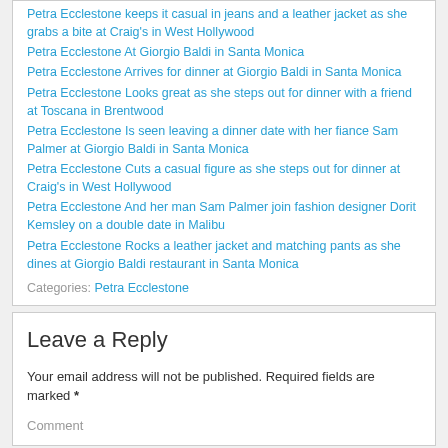Petra Ecclestone keeps it casual in jeans and a leather jacket as she grabs a bite at Craig's in West Hollywood
Petra Ecclestone At Giorgio Baldi in Santa Monica
Petra Ecclestone Arrives for dinner at Giorgio Baldi in Santa Monica
Petra Ecclestone Looks great as she steps out for dinner with a friend at Toscana in Brentwood
Petra Ecclestone Is seen leaving a dinner date with her fiance Sam Palmer at Giorgio Baldi in Santa Monica
Petra Ecclestone Cuts a casual figure as she steps out for dinner at Craig's in West Hollywood
Petra Ecclestone And her man Sam Palmer join fashion designer Dorit Kemsley on a double date in Malibu
Petra Ecclestone Rocks a leather jacket and matching pants as she dines at Giorgio Baldi restaurant in Santa Monica
Categories: Petra Ecclestone
Leave a Reply
Your email address will not be published. Required fields are marked *
Comment